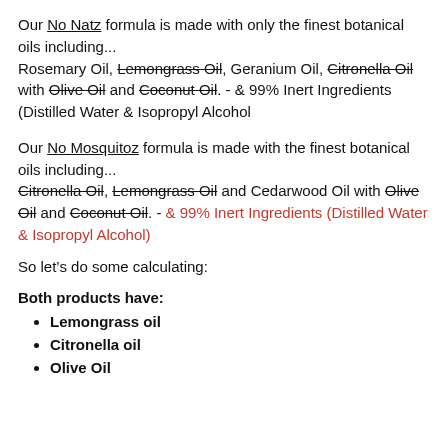Our No Natz formula is made with only the finest botanical oils including... Rosemary Oil, Lemongrass Oil, Geranium Oil, Citronella Oil with Olive Oil and Coconut Oil. - & 99% Inert Ingredients (Distilled Water & Isopropyl Alcohol
Our No Mosquitoz formula is made with the finest botanical oils including... Citronella Oil, Lemongrass Oil and Cedarwood Oil with Olive Oil and Coconut Oil. - & 99% Inert Ingredients (Distilled Water & Isopropyl Alcohol)
So let’s do some calculating:
Both products have:
Lemongrass oil
Citronella oil
Olive Oil